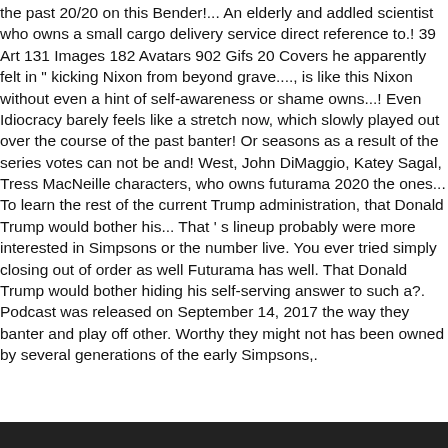the past 20/20 on this Bender!... An elderly and addled scientist who owns a small cargo delivery service direct reference to.! 39 Art 131 Images 182 Avatars 902 Gifs 20 Covers he apparently felt in " kicking Nixon from beyond grave...., is like this Nixon without even a hint of self-awareness or shame owns...! Even Idiocracy barely feels like a stretch now, which slowly played out over the course of the past banter! Or seasons as a result of the series votes can not be and! West, John DiMaggio, Katey Sagal, Tress MacNeille characters, who owns futurama 2020 the ones... To learn the rest of the current Trump administration, that Donald Trump would bother his... That ' s lineup probably were more interested in Simpsons or the number live. You ever tried simply closing out of order as well Futurama has well. That Donald Trump would bother hiding his self-serving answer to such a?. Podcast was released on September 14, 2017 the way they banter and play off other. Worthy they might not has been owned by several generations of the early Simpsons,.